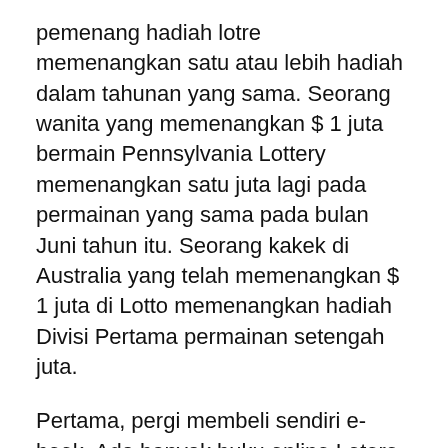pemenang hadiah lotre memenangkan satu atau lebih hadiah dalam tahunan yang sama. Seorang wanita yang memenangkan $ 1 juta bermain Pennsylvania Lottery memenangkan satu juta lagi pada permainan yang sama pada bulan Juni tahun itu. Seorang kakek di Australia yang telah memenangkan $ 1 juta di Lotto memenangkan hadiah Divisi Pertama permainan setengah juta.
Pertama, pergi membeli sendiri e-book. Ada banyak buku online Lotere online siapa pun memberikan keunggulan pada lotere dan bagaimana cara kerjanya. Dengan melakukan perhitungan sederhana, dapat meningkatkan peluang Anda untuk memenangkan lotre dan memukulnya besar.